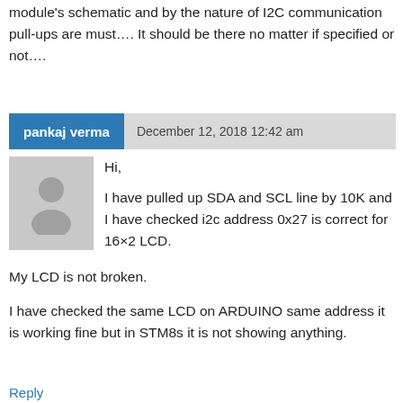module's schematic and by the nature of I2C communication pull-ups are must…. It should be there no matter if specified or not….
pankaj verma   December 12, 2018 12:42 am
Hi,

I have pulled up SDA and SCL line by 10K and I have checked i2c address 0x27 is correct for 16×2 LCD.

My LCD is not broken.

I have checked the same LCD on ARDUINO same address it is working fine but in STM8s it is not showing anything.
Reply